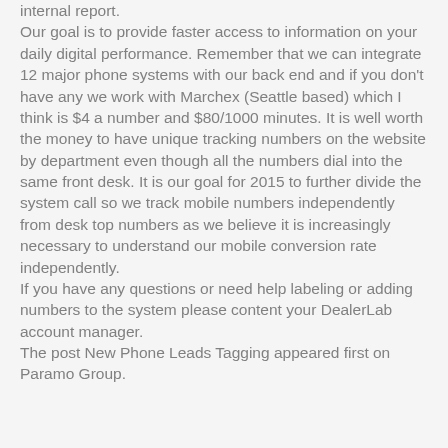internal report. Our goal is to provide faster access to information on your daily digital performance. Remember that we can integrate 12 major phone systems with our back end and if you don't have any we work with Marchex (Seattle based) which I think is $4 a number and $80/1000 minutes. It is well worth the money to have unique tracking numbers on the website by department even though all the numbers dial into the same front desk. It is our goal for 2015 to further divide the system call so we track mobile numbers independently from desk top numbers as we believe it is increasingly necessary to understand our mobile conversion rate independently. If you have any questions or need help labeling or adding numbers to the system please content your DealerLab account manager. The post New Phone Leads Tagging appeared first on Paramo Group.